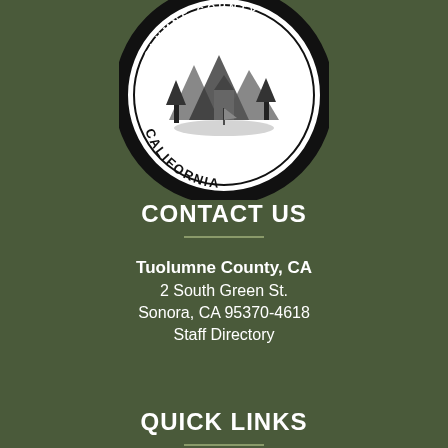[Figure (logo): Tuolumne County California official seal — circular black and white seal with county imagery and text 'CALIFORNIA' along the bottom border]
CONTACT US
Tuolumne County, CA
2 South Green St.
Sonora, CA 95370-4618
Staff Directory
QUICK LINKS
Tuolumne County Visitors Bureau